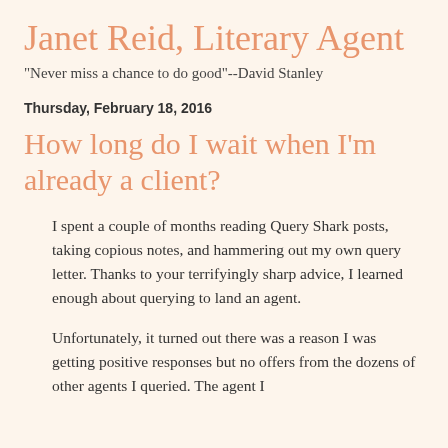Janet Reid, Literary Agent
"Never miss a chance to do good"--David Stanley
Thursday, February 18, 2016
How long do I wait when I'm already a client?
I spent a couple of months reading Query Shark posts, taking copious notes, and hammering out my own query letter. Thanks to your terrifyingly sharp advice, I learned enough about querying to land an agent.
Unfortunately, it turned out there was a reason I was getting positive responses but no offers from the dozens of other agents I queried. The agent I